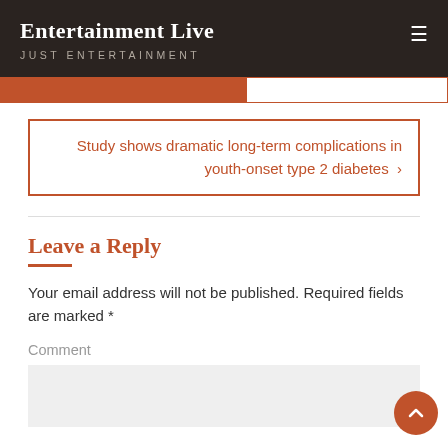Entertainment Live
JUST ENTERTAINMENT
Study shows dramatic long-term complications in youth-onset type 2 diabetes ›
Leave a Reply
Your email address will not be published. Required fields are marked *
Comment